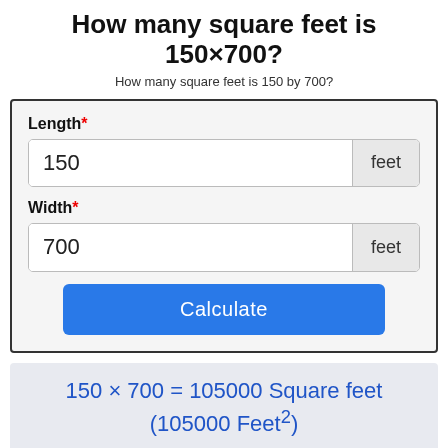How many square feet is 150×700?
How many square feet is 150 by 700?
Length* 150 feet Width* 700 feet Calculate
150 × 700 = 105000 Square feet (105000 Feet²)